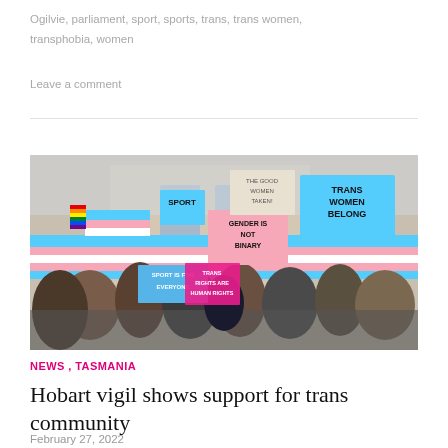Ogilvie, parliament, sport, sports, trans, trans women, transphobia, women
Leave a comment
[Figure (photo): A crowd of protesters outside a building holding signs including 'TRANS WOMEN BELONG', 'GENDER IS NOT BINARY', 'TRANS RIGHTS ARE HUMAN RIGHTS', 'SPORT IS FOR EVERYONE', and trans pride flags. People are wearing masks.]
NEWS, TASMANIA
Hobart vigil shows support for trans community
February 27, 2022